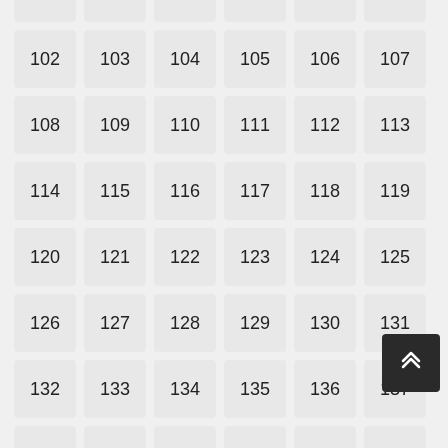Grid of numbered cells from 96 to 155, with cell 145 highlighted in black. Numbers arranged in rows of 6: 96-101, 102-107, 108-113, 114-119, 120-125, 126-131, 132-137, 138-143, 144-149, 150-155. A scroll-to-top button is visible at the bottom right.